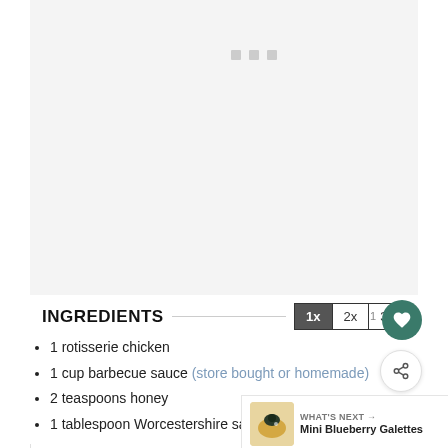[Figure (other): Gray placeholder/advertisement area with three small gray squares near the top left, suggesting a loading or ad placeholder region.]
INGREDIENTS
1 rotisserie chicken
1 cup barbecue sauce (store bought or homemade)
2 teaspoons honey
1 tablespoon Worcestershire sauce or soy